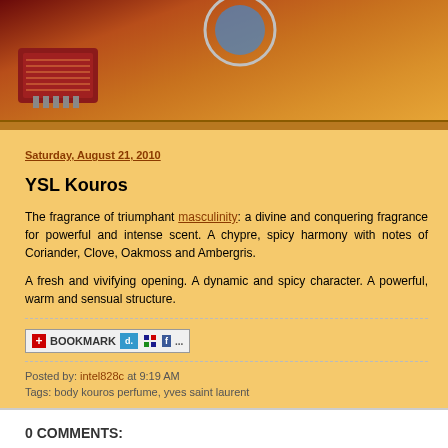[Figure (screenshot): Blog website header banner with orange/brown gradient background and a red network cable connector image on the left, with a circular logo element partially visible]
Saturday, August 21, 2010
YSL Kouros
The fragrance of triumphant masculinity: a divine and conquering fragrance for powerful and intense scent. A chypre, spicy harmony with notes of Coriander, Clove, Oakmoss and Ambergris.
A fresh and vivifying opening. A dynamic and spicy character. A powerful, warm and sensual structure.
[Figure (screenshot): Bookmark widget bar with icons for bookmarking services including a red plus bookmark button, del.icio.us, and Facebook]
Posted by: intel828c at 9:19 AM
Tags: body kouros perfume, yves saint laurent
0 COMMENTS:
Post a Comment